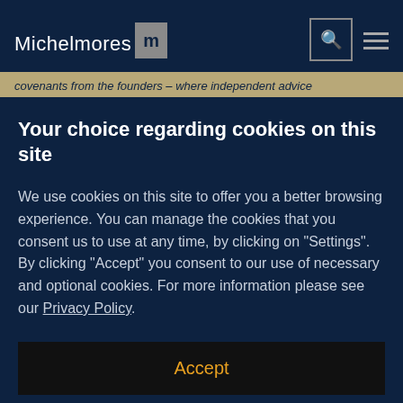Michelmores
covenants from the founders – where independent advice
Your choice regarding cookies on this site
We use cookies on this site to offer you a better browsing experience. You can manage the cookies that you consent us to use at any time, by clicking on "Settings". By clicking "Accept" you consent to our use of necessary and optional cookies. For more information please see our Privacy Policy.
Accept
Settings